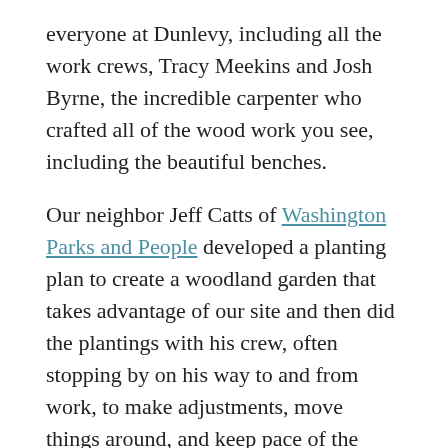everyone at Dunlevy, including all the work crews, Tracy Meekins and Josh Byrne, the incredible carpenter who crafted all of the wood work you see, including the beautiful benches.
Our neighbor Jeff Catts of Washington Parks and People developed a planting plan to create a woodland garden that takes advantage of our site and then did the plantings with his crew, often stopping by on his way to and from work, to make adjustments, move things around, and keep pace of the progress.
Our community member Phil Brooks is in the garden every morning keeping the plants watered and the garden clean and tidy. Phil's hard work and the love he shows for the garden reflect his belief